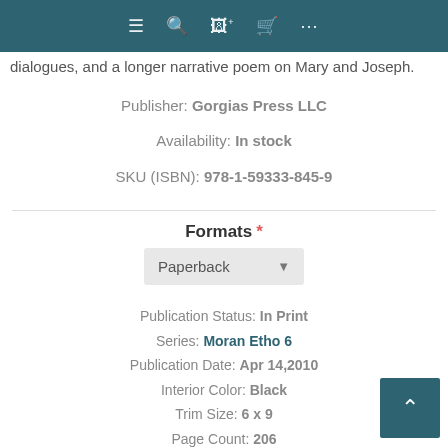Navigation bar with menu, search, monitor-plus, cart, and more icons
dialogues, and a longer narrative poem on Mary and Joseph.
Publisher: Gorgias Press LLC
Availability: In stock
SKU (ISBN): 978-1-59333-845-9
Formats *
Paperback
Publication Status: In Print
Series: Moran Etho 6
Publication Date: Apr 14,2010
Interior Color: Black
Trim Size: 6 x 9
Page Count: 206
Language: English